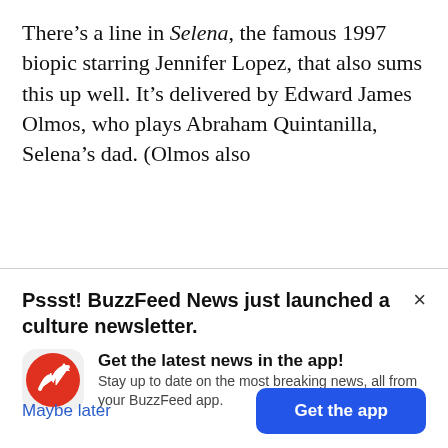There’s a line in Selena, the famous 1997 biopic starring Jennifer Lopez, that also sums this up well. It’s delivered by Edward James Olmos, who plays Abraham Quintanilla, Selena’s dad. (Olmos also
Pssst! BuzzFeed News just launched a culture newsletter.
It features exclusive columns and our best reporting and analysis. We wanted you to be the first to know about it!
[Figure (logo): BuzzFeed app icon: red circle with white arrow trending up]
Get the latest news in the app! Stay up to date on the most breaking news, all from your BuzzFeed app.
Maybe later
Get the app